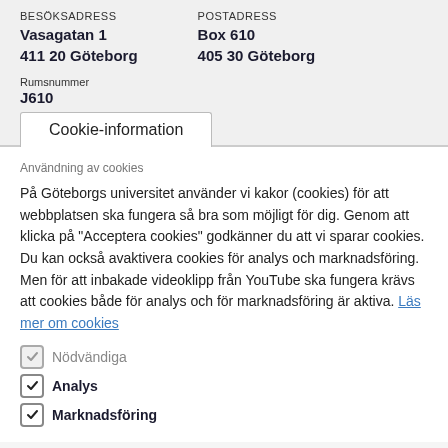BESÖKSADRESS
Vasagatan 1
411 20 Göteborg
POSTADRESS
Box 610
405 30 Göteborg
Rumsnummer
J610
Cookie-information
Användning av cookies
På Göteborgs universitet använder vi kakor (cookies) för att webbplatsen ska fungera så bra som möjligt för dig. Genom att klicka på "Acceptera cookies" godkänner du att vi sparar cookies. Du kan också avaktivera cookies för analys och marknadsföring. Men för att inbakade videoklipp från YouTube ska fungera krävs att cookies både för analys och för marknadsföring är aktiva. Läs mer om cookies
Nödvändiga
Analys
Marknadsföring